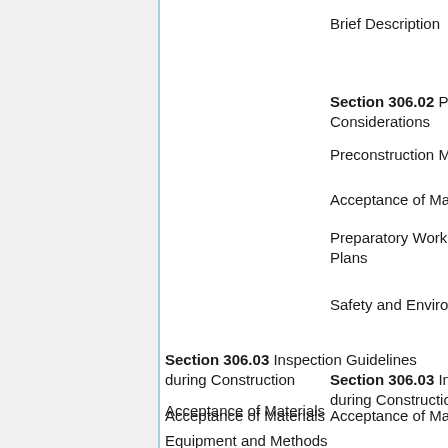Brief Description
Section 306.02 Preconstruction Considerations
Preconstruction Meeting
Acceptance of Materials
Preparatory Work and Contractor Work Plans
Safety and Environmental Issues
Section 306.03 Inspection Guidelines during Construction
Acceptance of Materials
Equipment and Methods
Construction Operations
Safety and Environmental